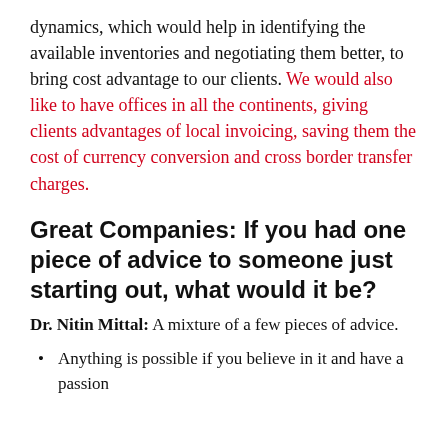dynamics, which would help in identifying the available inventories and negotiating them better, to bring cost advantage to our clients. We would also like to have offices in all the continents, giving clients advantages of local invoicing, saving them the cost of currency conversion and cross border transfer charges.
Great Companies: If you had one piece of advice to someone just starting out, what would it be?
Dr. Nitin Mittal: A mixture of a few pieces of advice.
Anything is possible if you believe in it and have a passion